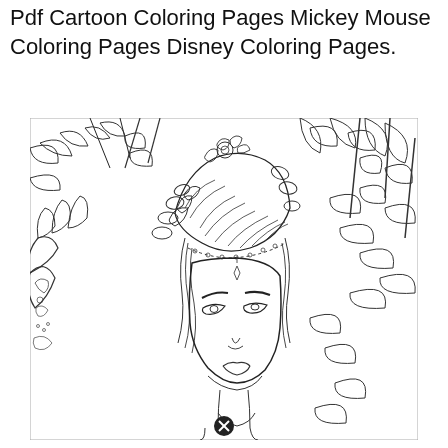Pdf Cartoon Coloring Pages Mickey Mouse Coloring Pages Disney Coloring Pages.
[Figure (illustration): A detailed line-art coloring page illustration of an anime-style woman with an elaborate updo hairstyle decorated with flowers and a beaded headpiece, surrounded by bamboo leaves. She has elegant facial features with arched eyebrows and a small diamond mark on her forehead. Her hands are visible at the sides, with one hand showing a decorative tattoo. A small circular icon with an X appears at the bottom center.]